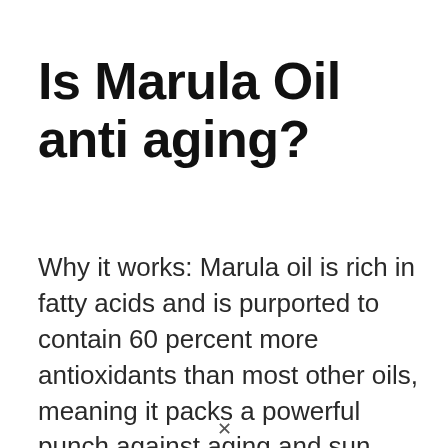Is Marula Oil anti aging?
Why it works: Marula oil is rich in fatty acids and is purported to contain 60 percent more antioxidants than most other oils, meaning it packs a powerful punch against aging and sun damage. The oil also has antimicrobial properties, making it ideal for irritated or acne-prone skin.